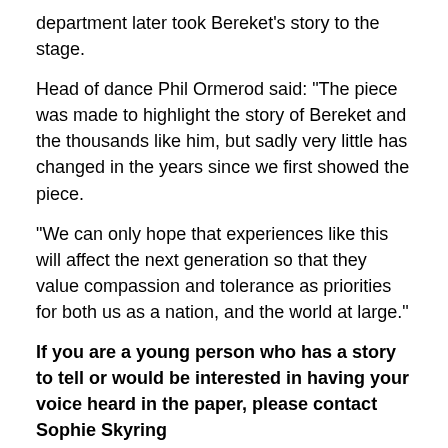department later took Bereket's story to the stage.
Head of dance Phil Ormerod said: "The piece was made to highlight the story of Bereket and the thousands like him, but sadly very little has changed in the years since we first showed the piece.
"We can only hope that experiences like this will affect the next generation so that they value compassion and tolerance as priorities for both us as a nation, and the world at large."
If you are a young person who has a story to tell or would be interested in having your voice heard in the paper, please contact Sophie Skyring via sophie.skyring@archant.co.uk
Norwich News